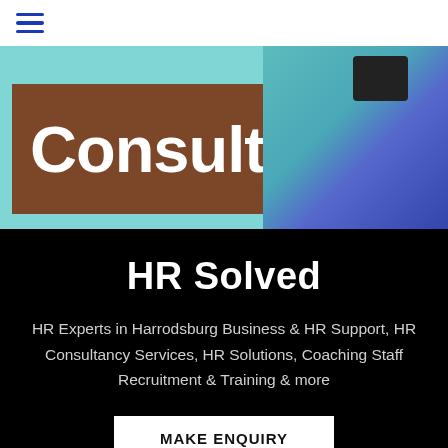[Figure (screenshot): Navigation bar with hamburger menu icon (three blue horizontal lines) on white background]
[Figure (photo): Hero banner with teal background, brown box containing the word 'Consulting' in large white bold text, and a woman in a blue sweater on the right side]
HR Solved
HR Experts in Harrodsburg Business & HR Support, HR Consultancy Services, HR Solutions, Coaching Staff Recruitment & Training & more
MAKE ENQUIRY